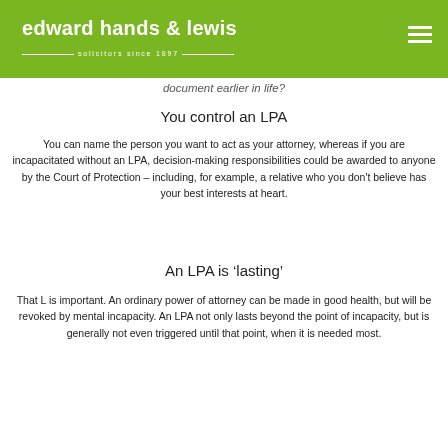edward hands & lewis — solicitors since 1897
document earlier in life?
You control an LPA
You can name the person you want to act as your attorney, whereas if you are incapacitated without an LPA, decision-making responsibilities could be awarded to anyone by the Court of Protection – including, for example, a relative who you don't believe has your best interests at heart.
An LPA is 'lasting'
That L is important. An ordinary power of attorney can be made in good health, but will be revoked by mental incapacity. An LPA not only lasts beyond the point of incapacity, but is generally not even triggered until that point, when it is needed most.